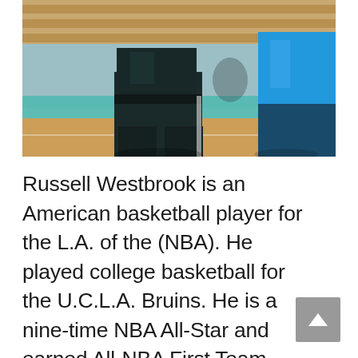[Figure (photo): Two basketball players on an indoor court. The player in the center wears a dark (black/dark teal) uniform with a white shirt underneath. A player in a bright blue uniform stands to the right. Wooden bleachers are visible in the background. The court floor is visible at the bottom.]
Russell Westbrook is an American basketball player for the L.A. of the (NBA). He played college basketball for the U.C.L.A. Bruins. He is a nine-time NBA All-Star and earned All-NBA First Team honors five times.